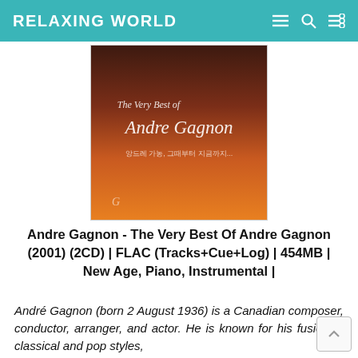RELAXING WORLD
[Figure (illustration): Album cover for 'The Very Best of Andre Gagnon' — gradient background from dark brown/maroon at top to orange at bottom, with white script text reading 'The Very Best of Andre Gagnon' and Korean subtitle text]
Andre Gagnon - The Very Best Of Andre Gagnon (2001) (2CD) | FLAC (Tracks+Cue+Log) | 454MB | New Age, Piano, Instrumental |
André Gagnon (born 2 August 1936) is a Canadian composer, conductor, arranger, and actor. He is known for his fusion of classical and pop styles,